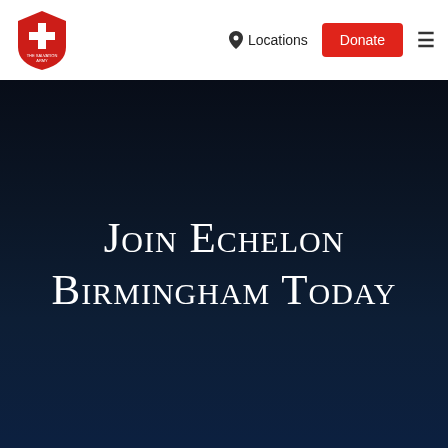[Figure (logo): The Salvation Army red shield logo in the top left of the navigation bar]
Locations  Donate  ☰
Join Echelon Birmingham Today